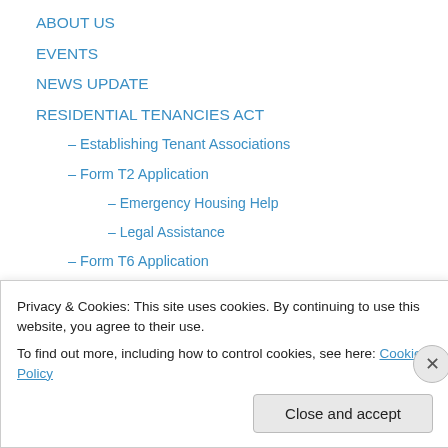ABOUT US
EVENTS
NEWS UPDATE
RESIDENTIAL TENANCIES ACT
– Establishing Tenant Associations
– Form T2 Application
– Emergency Housing Help
– Legal Assistance
– Form T6 Application
– Offences and Violations by Landlords
– Problem Landlords list
– Problem Tenants
– Renting Regulations
Privacy & Cookies: This site uses cookies. By continuing to use this website, you agree to their use.
To find out more, including how to control cookies, see here: Cookie Policy
Close and accept